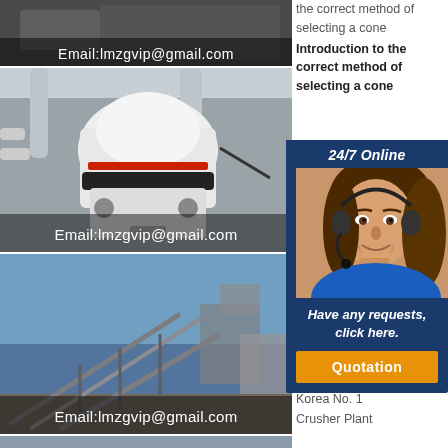[Figure (photo): Cone crusher industrial machine with email overlay at top, partially cropped]
[Figure (photo): Large white cone crusher machine in industrial facility with red stripe, Email:lmzgvip@gmail.com overlay]
[Figure (photo): Industrial conveyor belts and crushing plant with blue sky, Email:lmzgvip@gmail.com overlay]
[Figure (photo): Partial view of industrial crushing/screening plant at bottom]
the correct method of selecting a cone
Introduction to the correct method of selecting a cone
Introduction to the correct method of selecting a cone
Cone Crushers Hydraulic Cone Crushers
Samyoung Korea
Cone Crushers Introduction. Korea No. 1 Crusher Plant
[Figure (infographic): 24/7 Online support popup with female customer service rep, 'Have any requests, click here.' and Quotation button]